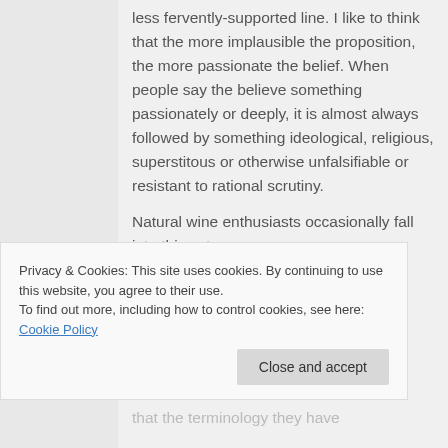less fervently-supported line. I like to think that the more implausible the proposition, the more passionate the belief. When people say the believe something passionately or deeply, it is almost always followed by something ideological, religious, superstitous or otherwise unfalsifiable or resistant to rational scrutiny.
Natural wine enthusiasts occasionally fall into this category,
Privacy & Cookies: This site uses cookies. By continuing to use this website, you agree to their use.
To find out more, including how to control cookies, see here: Cookie Policy
that the terminology they have